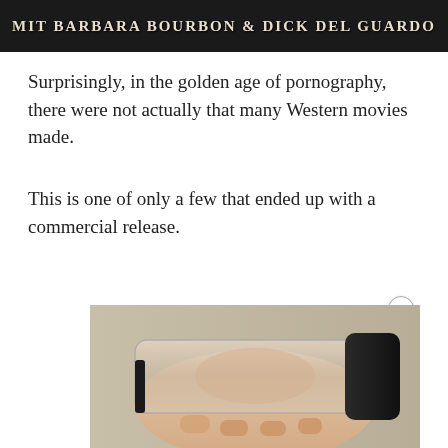[Figure (photo): Dark banner/header image with text 'MIT BARBARA BOURBON & DICK DEL GUARDO' in bold serif letters on black background]
Surprisingly, in the golden age of pornography, there were not actually that many Western movies made.
This is one of only a few that ended up with a commercial release.
[Figure (photo): A hand holding a clear/transparent adult novelty product with black end cap against a neutral background, partially cropped]